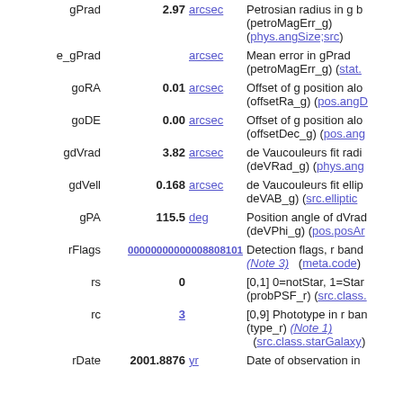| Name | Value | Unit | Description |
| --- | --- | --- | --- |
| gPrad | 2.97 | arcsec | Petrosian radius in g b... (petroMagErr_g) (phys.angSize;src) |
| e_gPrad |  | arcsec | Mean error in gPrad (petroMagErr_g) (stat....) |
| goRA | 0.01 | arcsec | Offset of g position alo... (offsetRa_g) (pos.angD...) |
| goDE | 0.00 | arcsec | Offset of g position alo... (offsetDec_g) (pos.ang...) |
| gdVrad | 3.82 | arcsec | de Vaucouleurs fit radi... (deVRad_g) (phys.ang...) |
| gdVell | 0.168 | arcsec | de Vaucouleurs fit ellip... deVAB_g) (src.elliptic...) |
| gPA | 115.5 | deg | Position angle of dVrad (deVPhi_g) (pos.posAr...) |
| rFlags | 00000000000008808101 |  | Detection flags, r band (Note 3) (meta.code) |
| rs | 0 |  | [0,1] 0=notStar, 1=Star (probPSF_r) (src.class....) |
| rc | 3 |  | [0,9] Phototype in r ban... (type_r) (Note 1) (src.class.starGalaxy) |
| rDate | 2001.8876 | yr | Date of observation in ... |